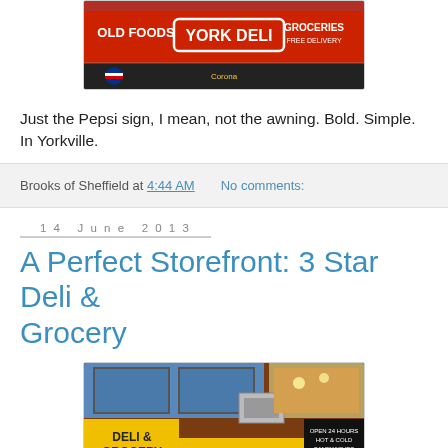[Figure (photo): Photo of York Deli storefront awning with red background showing 'OLD FOODS', 'YORK DELI', 'GROCERIES', 'FREE DELIVERY' text and Pepsi sign visible]
Just the Pepsi sign, I mean, not the awning. Bold. Simple. In Yorkville.
Brooks of Sheffield at 4:44 AM    No comments:
14 June 2013
A Perfect Storefront: 3 Star Deli & Grocery
[Figure (photo): Photo of 3 Star Deli & Grocery storefront with yellow signage reading 'DELI & GROCERY', 'FREE DELIVERY', '3 Star DELI & GROCERY', on a brick building with AC unit visible]